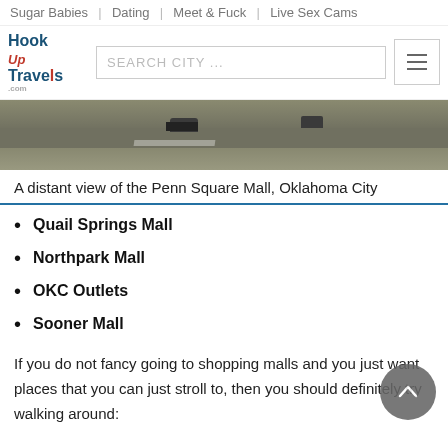Sugar Babies | Dating | Meet & Fuck | Live Sex Cams
[Figure (screenshot): Website header with Hook Up Travels logo, search city input, and hamburger menu]
[Figure (photo): A distant view of the Penn Square Mall, Oklahoma City — road/highway scene]
A distant view of the Penn Square Mall, Oklahoma City
Quail Springs Mall
Northpark Mall
OKC Outlets
Sooner Mall
If you do not fancy going to shopping malls and you just want places that you can just stroll to, then you should definitely try walking around: